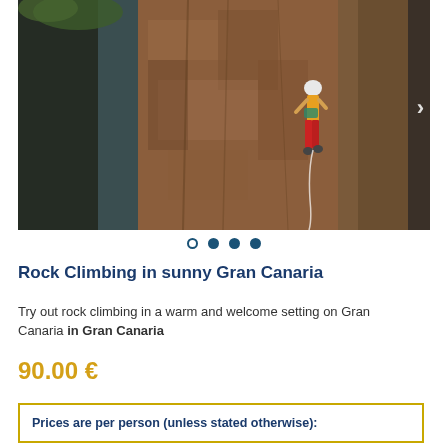[Figure (photo): Rock climber in red pants and white helmet scaling a tall brownish-red rock face in a canyon setting, with dark volcanic rock formations in the foreground and background.]
Rock Climbing in sunny Gran Canaria
Try out rock climbing in a warm and welcome setting on Gran Canaria in Gran Canaria
90.00 €
Prices are per person (unless stated otherwise):